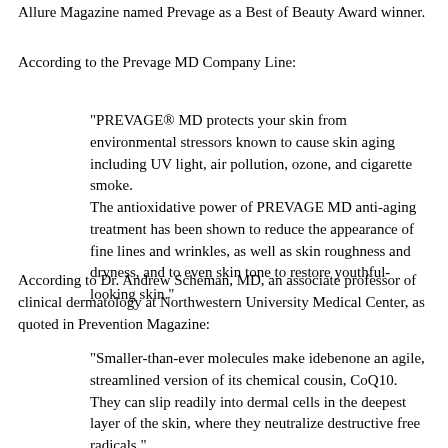Allure Magazine named Prevage as a Best of Beauty Award winner.
According to the Prevage MD Company Line:
"PREVAGE® MD protects your skin from environmental stressors known to cause skin aging including UV light, air pollution, ozone, and cigarette smoke.
The antioxidative power of PREVAGE MD anti-aging treatment has been shown to reduce the appearance of fine lines and wrinkles, as well as skin roughness and dryness, and to even skin tone to restore youthful-looking skin."
According to Dr. Andrew Scheman, MD, an associate professor of clinical dermatology at Northwestern University Medical Center, as quoted in Prevention Magazine:
"Smaller-than-ever molecules make idebenone an agile, streamlined version of its chemical cousin, CoQ10. They can slip readily into dermal cells in the deepest layer of the skin, where they neutralize destructive free radicals."